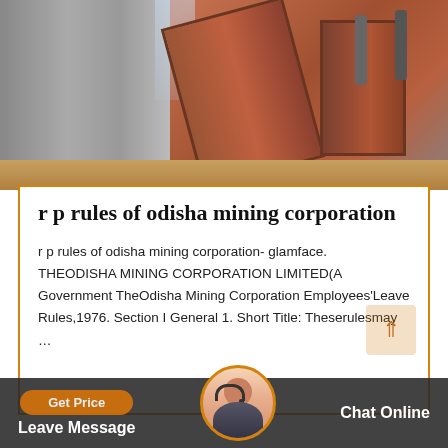[Figure (photo): Industrial mining machinery photograph showing metal equipment, gears/cylinders with rods/shafts, stone wall background, wooden base rail]
r p rules of odisha mining corporation
r p rules of odisha mining corporation- glamface. THEODISHA MINING CORPORATION LIMITED(A Government TheOdisha Mining Corporation Employees'Leave Rules,1976. Section I General 1. Short Title: Theserulesmay …
Get Price  Leave Message  Chat Online